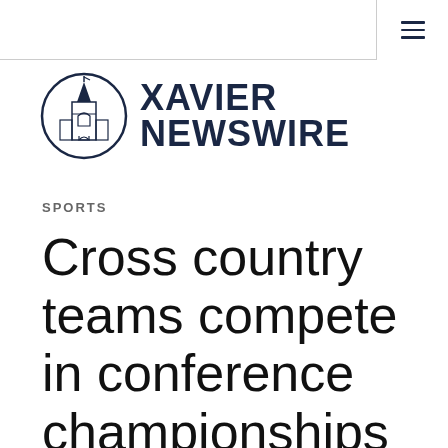[Figure (logo): Xavier Newswire logo with a circular emblem showing a church tower illustration on the left and the text XAVIER NEWSWIRE in bold navy on the right]
SPORTS
Cross country teams compete in conference championships